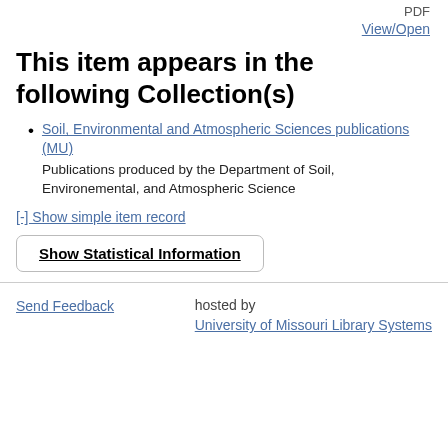PDF
View/Open
This item appears in the following Collection(s)
Soil, Environmental and Atmospheric Sciences publications (MU)
Publications produced by the Department of Soil, Environemental, and Atmospheric Science
[-] Show simple item record
Show Statistical Information
Send Feedback
hosted by
University of Missouri Library Systems